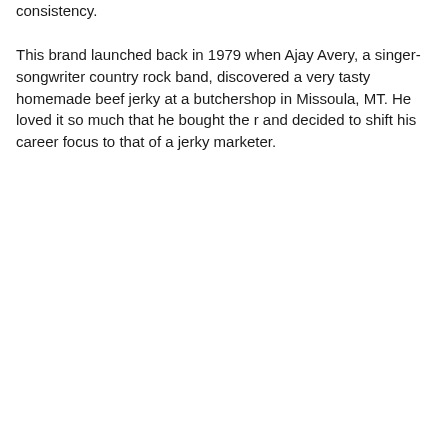consistency.
This brand launched back in 1979 when Ajay Avery, a singer-songwriter country rock band, discovered a very tasty homemade beef jerky at a butchershop in Missoula, MT. He loved it so much that he bought the r and decided to shift his career focus to that of a jerky marketer.